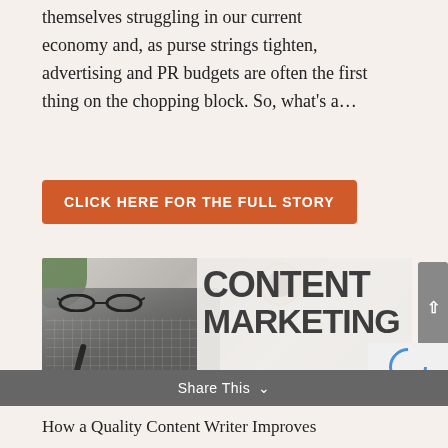themselves struggling in our current economy and, as purse strings tighten, advertising and PR budgets are often the first thing on the chopping block. So, what's a...
CLICK HERE FOR THE FULL STORY
[Figure (photo): Photo of a desk with keyboard, glasses, pen, plant, and coffee cup. Bold text overlay reads CONTENT MARKETING with a hand pointing at a notebook.]
Share This ∨
How a Quality Content Writer Improves